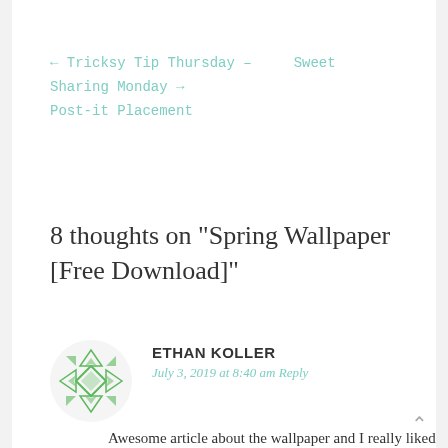← Tricksy Tip Thursday –    Sweet Sharing Monday →
Post-it Placement
8 thoughts on “Spring Wallpaper [Free Download]”
ETHAN KOLLER
July 3, 2019 at 8:40 am Reply
Awesome article about the wallpaper and I really liked it very so thanks for sharing it